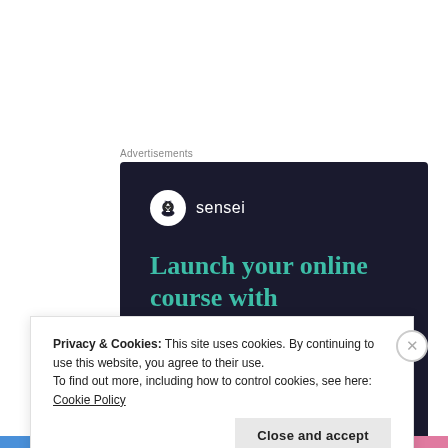Advertisements
[Figure (illustration): Sensei advertisement banner on dark navy background. Shows Sensei logo (white circle with bonsai tree icon and 'sensei' text), headline 'Launch your online course with WordPress' in teal, and a teal 'Learn More' button.]
Privacy & Cookies: This site uses cookies. By continuing to use this website, you agree to their use.
To find out more, including how to control cookies, see here: Cookie Policy
Close and accept